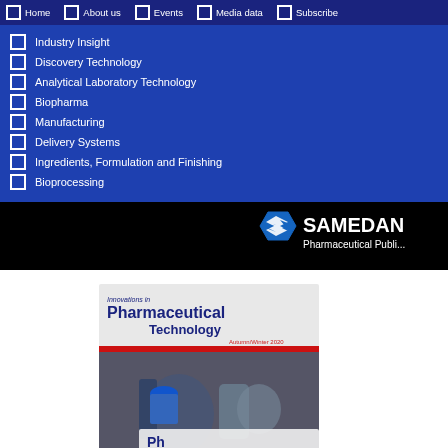Home | About us | Events | Media data | Subscribe
Industry Insight
Discovery Technology
Analytical Laboratory Technology
Biopharma
Manufacturing
Delivery Systems
Ingredients, Formulation and Finishing
Bioprocessing
[Figure (logo): Samedan Ltd Pharmaceutical Publishing logo on black bar]
[Figure (photo): Magazine cover: Innovations in Pharmaceutical Technology, Autumn/Winter 2020, showing laboratory equipment]